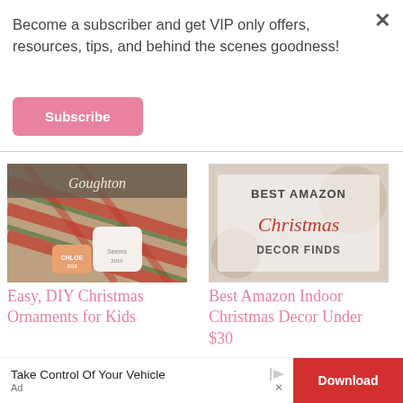Become a subscriber and get VIP only offers, resources, tips, and behind the scenes goodness!
Subscribe
[Figure (photo): Photo of DIY Christmas ornaments with plaid fabric background, personalized ornament tags with names 'Chloe']
Easy, DIY Christmas Ornaments for Kids
[Figure (photo): Promotional image reading 'BEST AMAZON Christmas DECOR FINDS' with Christmas decor in background]
Best Amazon Indoor Christmas Decor Under $30
[Figure (screenshot): Advertisement banner: 'Take Control Of Your Vehicle' with Download button and Ad label]